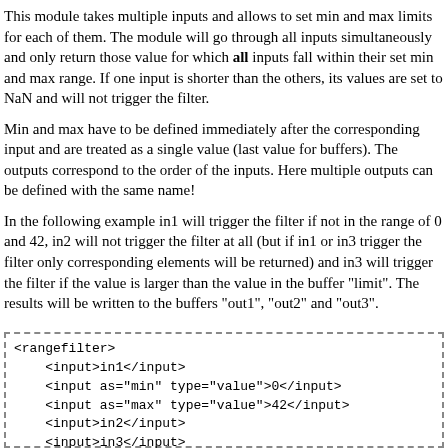This module takes multiple inputs and allows to set min and max limits for each of them. The module will go through all inputs simultaneously and only return those value for which all inputs fall within their set min and max range. If one input is shorter than the others, its values are set to NaN and will not trigger the filter.
Min and max have to be defined immediately after the corresponding input and are treated as a single value (last value for buffers). The outputs correspond to the order of the inputs. Here multiple outputs can be defined with the same name!
In the following example in1 will trigger the filter if not in the range of 0 and 42, in2 will not trigger the filter at all (but if in1 or in3 trigger the filter only corresponding elements will be returned) and in3 will trigger the filter if the value is larger than the value in the buffer "limit". The results will be written to the buffers "out1", "out2" and "out3".
[Figure (other): Code block showing XML rangefilter configuration with inputs in1, in2, in3, min/max constraints, and output out1]